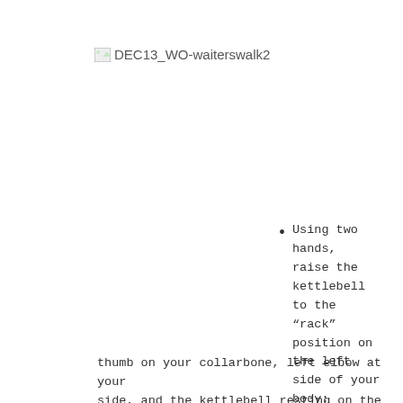[Figure (photo): Broken image placeholder for DEC13_WO-waiterswalk2]
Using two hands, raise the kettlebell to the “rack” position on the left side of your body: thumb on your collarbone, left elbow at your side, and the kettlebell resting on the V-shape formed by your upper and lower arm. Hold the kettlebell with your left hand and drop your right hand to your side.